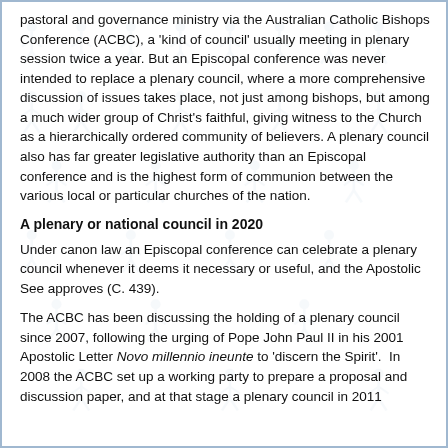pastoral and governance ministry via the Australian Catholic Bishops Conference (ACBC), a 'kind of council' usually meeting in plenary session twice a year. But an Episcopal conference was never intended to replace a plenary council, where a more comprehensive discussion of issues takes place, not just among bishops, but among a much wider group of Christ's faithful, giving witness to the Church as a hierarchically ordered community of believers. A plenary council also has far greater legislative authority than an Episcopal conference and is the highest form of communion between the various local or particular churches of the nation.
A plenary or national council in 2020
Under canon law an Episcopal conference can celebrate a plenary council whenever it deems it necessary or useful, and the Apostolic See approves (C. 439).
The ACBC has been discussing the holding of a plenary council since 2007, following the urging of Pope John Paul II in his 2001 Apostolic Letter Novo millennio ineunte to 'discern the Spirit'.  In 2008 the ACBC set up a working party to prepare a proposal and discussion paper, and at that stage a plenary council in 2011